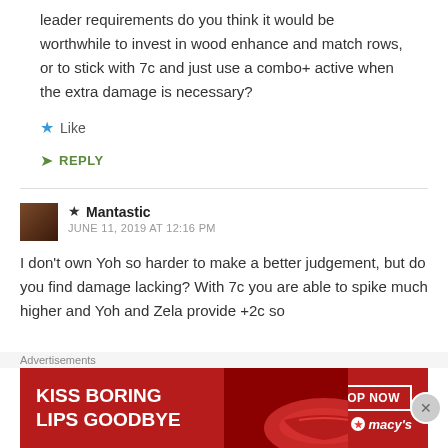leader requirements do you think it would be worthwhile to invest in wood enhance and match rows, or to stick with 7c and just use a combo+ active when the extra damage is necessary?
★ Like
➤ REPLY
★ Mantastic
JUNE 11, 2019 AT 12:16 PM
I don't own Yoh so harder to make a better judgement, but do you find damage lacking? With 7c you are able to spike much higher and Yoh and Zela provide +2c so
[Figure (other): Macy's advertisement banner: 'KISS BORING LIPS GOODBYE' with SHOP NOW button and Macy's logo]